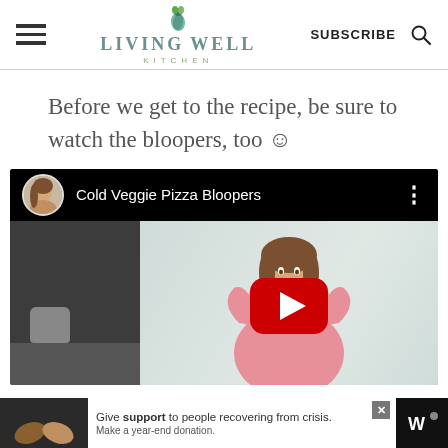LIVING WELL KITCHEN | SUBSCRIBE
Before we get to the recipe, be sure to watch the bloopers, too ☺
[Figure (screenshot): YouTube video embed showing 'Cold Veggie Pizza Bloopers' with a woman in a pink shirt posing in a kitchen, a red YouTube play button in the center, and an advertisement banner at the bottom reading 'Give support to people recovering from crisis. Make a year-end donation.']